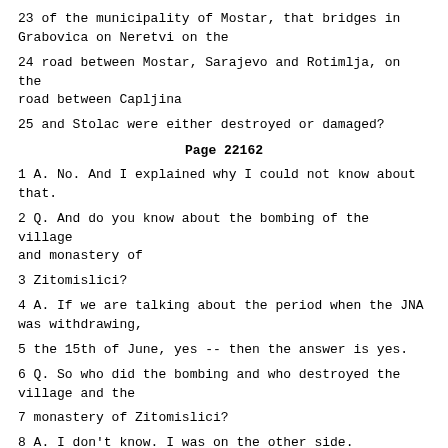23 of the municipality of Mostar, that bridges in Grabovica on Neretvi on the
24 road between Mostar, Sarajevo and Rotimlja, on the road between Capljina
25 and Stolac were either destroyed or damaged?
Page 22162
1 A. No. And I explained why I could not know about that.
2 Q. And do you know about the bombing of the village and monastery of
3 Zitomislici?
4 A. If we are talking about the period when the JNA was withdrawing,
5 the 15th of June, yes -- then the answer is yes.
6 Q. So who did the bombing and who destroyed the village and the
7 monastery of Zitomislici?
8 A. I don't know. I was on the other side.
9 Q. Do you know towards the end of April 1992 that the units from